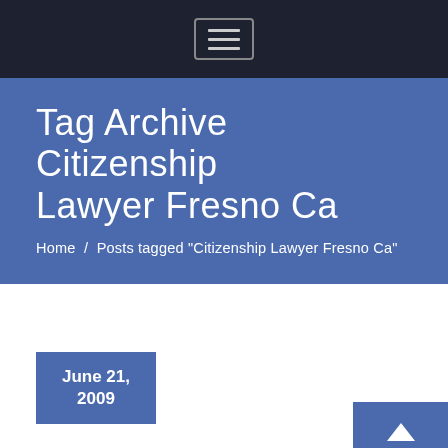Navigation bar with hamburger menu button
Tag Archive Citizenship Lawyer Fresno Ca
Home / Posts tagged "Citizenship Lawyer Fresno Ca"
June 21, 2009